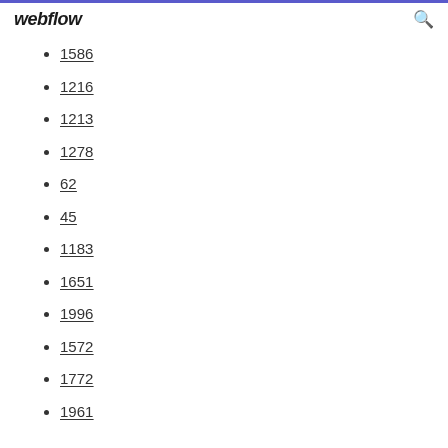webflow
1586
1216
1213
1278
62
45
1183
1651
1996
1572
1772
1961